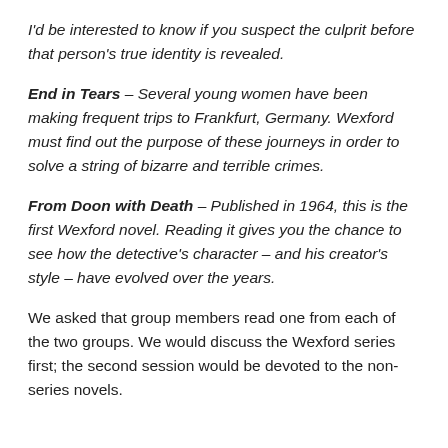I'd be interested to know if you suspect the culprit before that person's true identity is revealed.
End in Tears – Several young women have been making frequent trips to Frankfurt, Germany. Wexford must find out the purpose of these journeys in order to solve a string of bizarre and terrible crimes.
From Doon with Death – Published in 1964, this is the first Wexford novel. Reading it gives you the chance to see how the detective's character – and his creator's style – have evolved over the years.
We asked that group members read one from each of the two groups. We would discuss the Wexford series first; the second session would be devoted to the non-series novels.